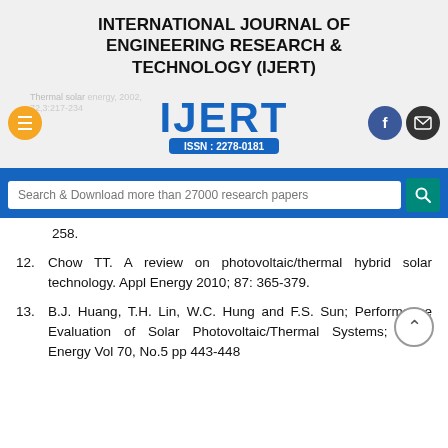INTERNATIONAL JOURNAL OF ENGINEERING RESEARCH & TECHNOLOGY (IJERT)
[Figure (logo): IJERT logo with ISSN: 2278-0181, hamburger menu button, Facebook and mail icons, and faded reference text in background]
[Figure (other): Search bar with text 'Search & Download more than 27000 research papers' and teal search button]
258.
12. Chow TT. A review on photovoltaic/thermal hybrid solar technology. Appl Energy 2010; 87: 365-379.
13. B.J. Huang, T.H. Lin, W.C. Hung and F.S. Sun; Performance Evaluation of Solar Photovoltaic/Thermal Systems; Solar Energy Vol 70, No.5 pp 443-448